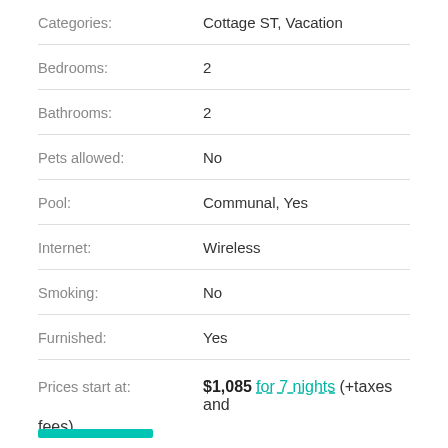| Field | Value |
| --- | --- |
| Categories: | Cottage ST, Vacation |
| Bedrooms: | 2 |
| Bathrooms: | 2 |
| Pets allowed: | No |
| Pool: | Communal, Yes |
| Internet: | Wireless |
| Smoking: | No |
| Furnished: | Yes |
Prices start at: $1,085 for 7 nights (+taxes and fees)